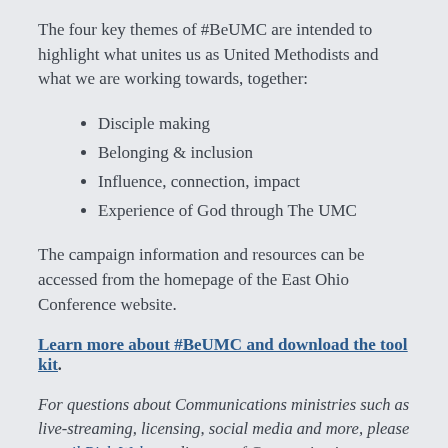The four key themes of #BeUMC are intended to highlight what unites us as United Methodists and what we are working towards, together:
Disciple making
Belonging & inclusion
Influence, connection, impact
Experience of God through The UMC
The campaign information and resources can be accessed from the homepage of the East Ohio Conference website.
Learn more about #BeUMC and download the tool kit.
For questions about Communications ministries such as live-streaming, licensing, social media and more, please e-mail Rick Wolcott, director of Communications, or visit the